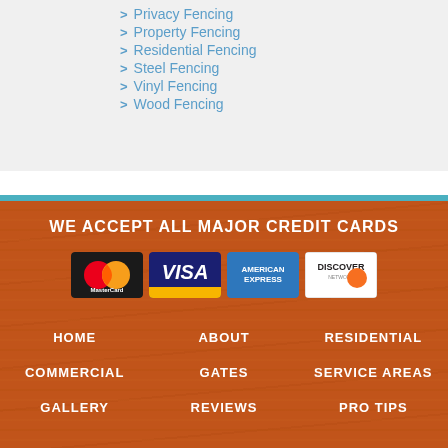Privacy Fencing
Property Fencing
Residential Fencing
Steel Fencing
Vinyl Fencing
Wood Fencing
WE ACCEPT ALL MAJOR CREDIT CARDS
[Figure (logo): MasterCard logo]
[Figure (logo): Visa logo]
[Figure (logo): American Express logo]
[Figure (logo): Discover Network logo]
HOME
ABOUT
RESIDENTIAL
COMMERCIAL
GATES
SERVICE AREAS
GALLERY
REVIEWS
PRO TIPS